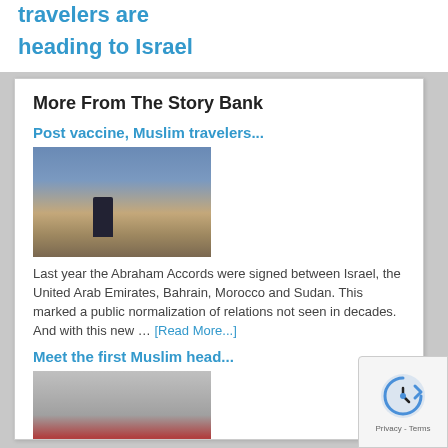travelers are heading to Israel
More From The Story Bank
Post vaccine, Muslim travelers...
[Figure (photo): A person standing on a hill overlooking Jerusalem with the Dome of the Rock visible in the background]
Last year the Abraham Accords were signed between Israel, the United Arab Emirates, Bahrain, Morocco and Sudan. This marked a public normalization of relations not seen in decades. And with this new ... [Read More...]
Meet the first Muslim head...
[Figure (photo): Football coach and players in New York Jets uniforms on the sideline, some wearing face masks]
As new head coach for the New York Jets, Robert Saleh is making history as the first Muslim American to lead a team in